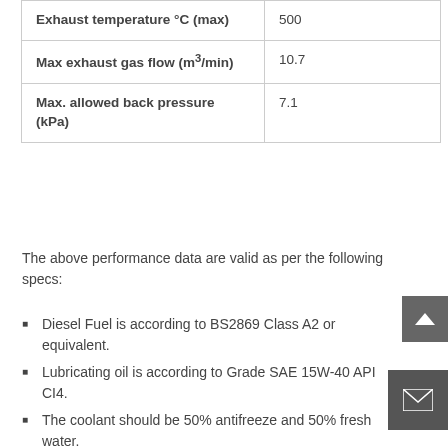| Exhaust temperature °C (max) | 500 |
| Max exhaust gas flow (m³/min) | 10.7 |
| Max. allowed back pressure (kPa) | 7.1 |
The above performance data are valid as per the following specs:
Diesel Fuel is according to BS2869 Class A2 or equivalent.
Lubricating oil is according to Grade SAE 15W-40 API CI4.
The coolant should be 50% antifreeze and 50% fresh water.